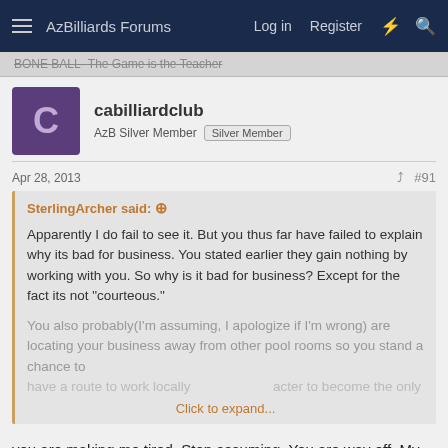AzBilliards Forums | Log in | Register
BONE BALL- The Game is the Teacher
cabilliardclub
AzB Silver Member  Silver Member
Apr 28, 2013  #91
SterlingArcher said:
Apparently I do fail to see it. But you thus far have failed to explain why its bad for business. You stated earlier they gain nothing by working with you. So why is it bad for business? Except for the fact its not "courteous."

You also probably(I'm assuming, I apologize if I'm wrong) are locating your business away from other pool rooms so you stand a chance to ... Click to expand...
you are making me tired. Stop assuming. You are way off. My business is the best it has ever been.